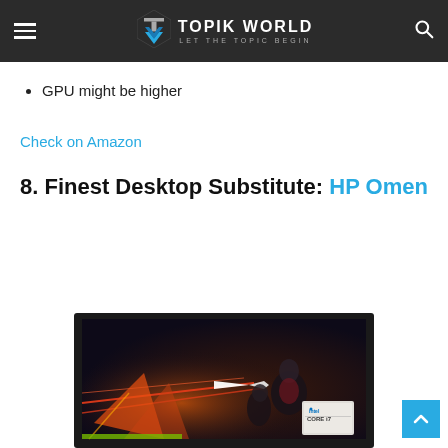TOPIK WORLD — LET THE TOPIC BEGIN
GPU might be higher
Check on Amazon
8. Finest Desktop Substitute: HP Omen
[Figure (photo): HP Omen laptop product image showing a gaming scene with characters and an Intel Core i7 badge]